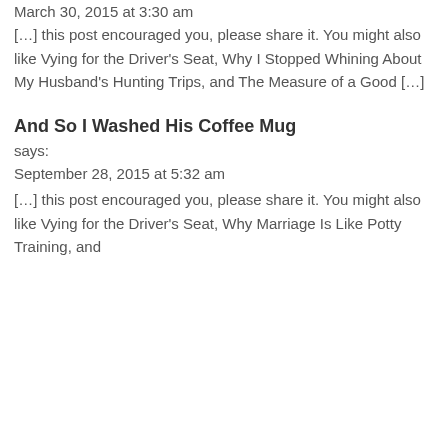March 30, 2015 at 3:30 am
[…] this post encouraged you, please share it. You might also like Vying for the Driver’s Seat, Why I Stopped Whining About My Husband’s Hunting Trips, and The Measure of a Good […]
And So I Washed His Coffee Mug
says:
September 28, 2015 at 5:32 am
[…] this post encouraged you, please share it. You might also like Vying for the Driver’s Seat, Why Marriage Is Like Potty Training, and